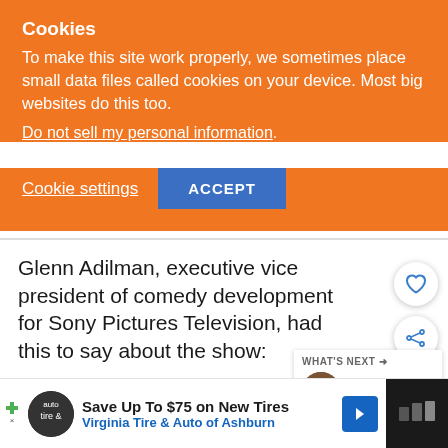Cookies
To make this site work properly, we sometimes place small data files called cookies on your device. Most big websites do this too.
Do not sell my personal information.
Cookie settings   ACCEPT
Glenn Adilman, executive vice president of comedy development for Sony Pictures Television, had this to say about the show: ""We love Twisted Metal in all its twi... insanity. Michael Jonathan Smith (Cobra Kai...
[Figure (screenshot): WHAT'S NEXT arrow with Sony Announces... thumbnail]
[Figure (screenshot): Advertisement: Save Up To $75 on New Tires - Virginia Tire & Auto of Ashburn]